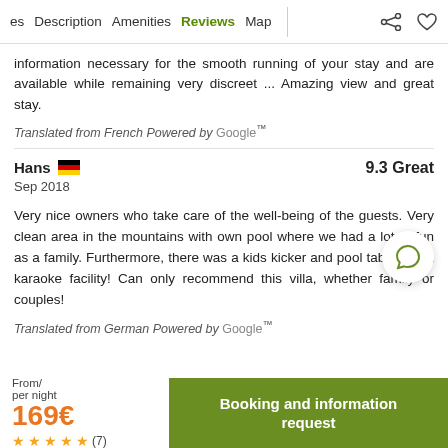es  Description  Amenities  Reviews  Map
information necessary for the smooth running of your stay and are available while remaining very discreet ... Amazing view and great stay.
Translated from French Powered by Google™
Hans  🇩🇪   9.3 Great
Sep 2018
Very nice owners who take care of the well-being of the guests. Very clean area in the mountains with own pool where we had a lot of fun as a family. Furthermore, there was a kids kicker and pool table and a karaoke facility! Can only recommend this villa, whether family or couples!
Translated from German Powered by Google™
From/ per night 169€  ★★★★★ (7)
Booking and information request